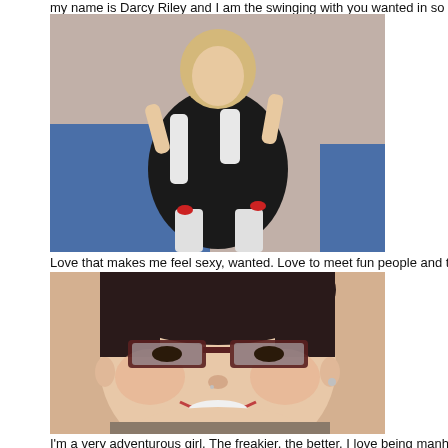my name is Darcy Riley and I am the swinging with you wanted in so I want be
[Figure (photo): Photo of a blonde woman in a black outfit with white gloves and white stockings with red bows, posed on a blue surface.]
Love that makes me feel sexy, wanted. Love to meet fun people and try new
[Figure (photo): Close-up photo of a dark-haired woman with glasses, smiling at the camera.]
I'm a very adventurous girl. The freakier, the better. I love being manhandled